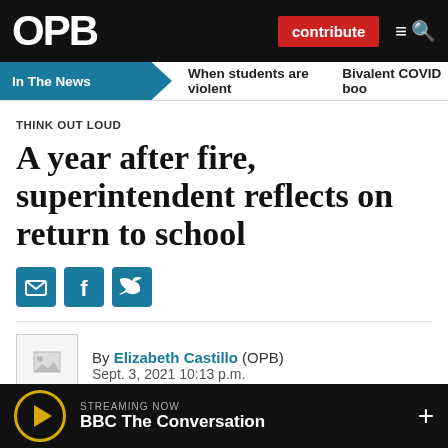OPB
In The News | When students are violent | Bivalent COVID boo
THINK OUT LOUD
A year after fire, superintendent reflects on return to school
By Elizabeth Castillo (OPB)
Sept. 3, 2021 10:13 p.m.
Broadcast: Wednesday, Sept. 8
STREAMING NOW BBC The Conversation